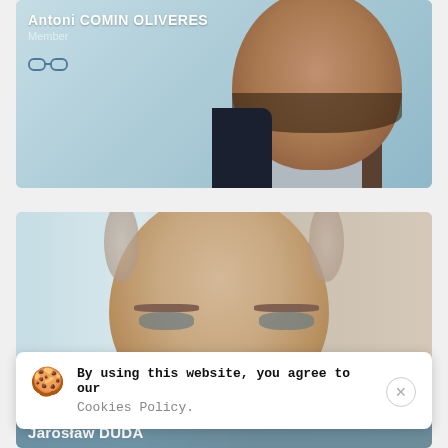[Figure (photo): Portrait photo of Antoni COMIN OLIVERES, Member, shown from shoulders up against a light blue background, with text overlay showing name and role, and a glasses/reading icon below]
[Figure (photo): Portrait photo of Jaroslaw DUDA, shown from shoulders up as a middle-aged bald man with light eyes, against a light blue/grey background. Cookie consent banner overlaid at bottom.]
By using this website, you agree to our Cookies Policy.